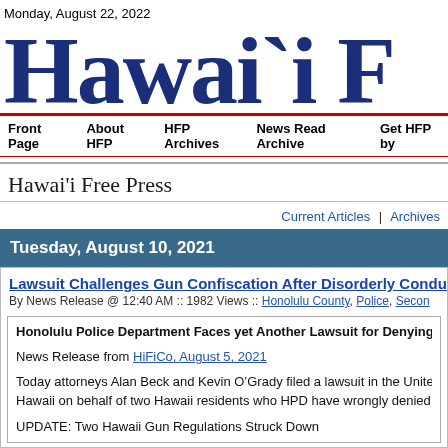Monday, August 22, 2022
Hawai`i F
Front Page   About HFP   HFP Archives   News Read Archive   Get HFP by
Hawai'i Free Press
Current Articles | Archives
Tuesday, August 10, 2021
Lawsuit Challenges Gun Confiscation After Disorderly Conduct
By News Release @ 12:40 AM :: 1982 Views :: Honolulu County, Police, Secon
Honolulu Police Department Faces yet Another Lawsuit for Denying the Rig
News Release from HiFiCo, August 5, 2021
Today attorneys Alan Beck and Kevin O’Grady filed a lawsuit in the United Stat Hawaii on behalf of two Hawaii residents who HPD have wrongly denied the ri
UPDATE: Two Hawaii Gun Regulations Struck Down